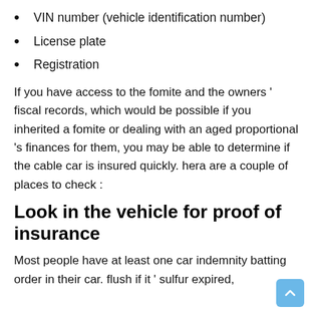VIN number (vehicle identification number)
License plate
Registration
If you have access to the fomite and the owners ' fiscal records, which would be possible if you inherited a fomite or dealing with an aged proportional 's finances for them, you may be able to determine if the cable car is insured quickly. hera are a couple of places to check :
Look in the vehicle for proof of insurance
Most people have at least one car indemnity batting order in their car. flush if it ' sulfur expired,